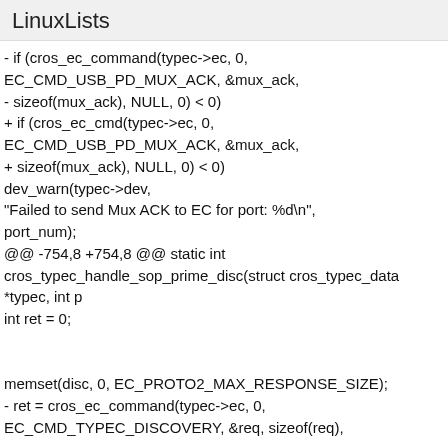LinuxLists
- if (cros_ec_command(typec->ec, 0,
EC_CMD_USB_PD_MUX_ACK, &mux_ack,
- sizeof(mux_ack), NULL, 0) < 0)
+ if (cros_ec_cmd(typec->ec, 0,
EC_CMD_USB_PD_MUX_ACK, &mux_ack,
+ sizeof(mux_ack), NULL, 0) < 0)
dev_warn(typec->dev,
"Failed to send Mux ACK to EC for port: %d\n",
port_num);
@@ -754,8 +754,8 @@ static int
cros_typec_handle_sop_prime_disc(struct cros_typec_data
*typec, int p
int ret = 0;


memset(disc, 0, EC_PROTO2_MAX_RESPONSE_SIZE);
- ret = cros_ec_command(typec->ec, 0,
EC_CMD_TYPEC_DISCOVERY, &req, sizeof(req),